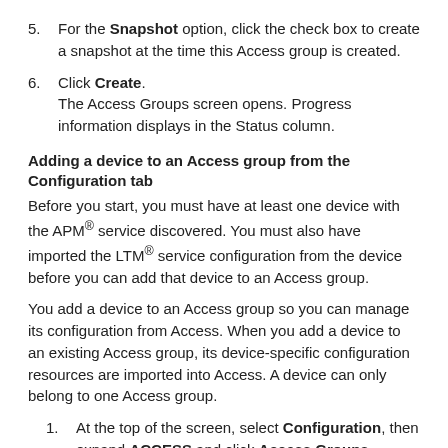5. For the Snapshot option, click the check box to create a snapshot at the time this Access group is created.
6. Click Create. The Access Groups screen opens. Progress information displays in the Status column.
Adding a device to an Access group from the Configuration tab
Before you start, you must have at least one device with the APM® service discovered. You must also have imported the LTM® service configuration from the device before you can add that device to an Access group.
You add a device to an Access group so you can manage its configuration from Access. When you add a device to an existing Access group, its device-specific configuration resources are imported into Access. A device can only belong to one Access group.
1. At the top of the screen, select Configuration, then expand ACCESS and click Access Groups.